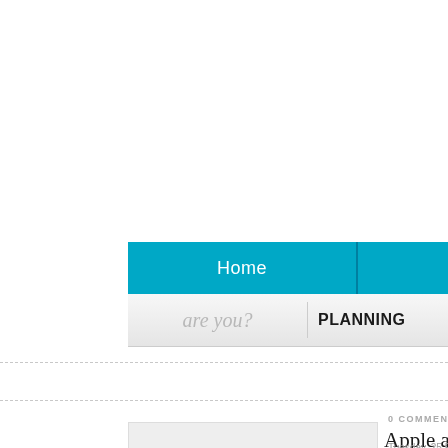Home | PLANNING
are you?
PLANNING
0 COMMENTS
Apple ac start-up s problem
Tuesday, 25 Februa